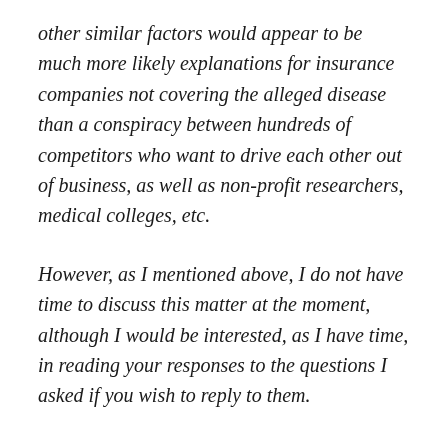other similar factors would appear to be much more likely explanations for insurance companies not covering the alleged disease than a conspiracy between hundreds of competitors who want to drive each other out of business, as well as non-profit researchers, medical colleges, etc.
However, as I mentioned above, I do not have time to discuss this matter at the moment, although I would be interested, as I have time, in reading your responses to the questions I asked if you wish to reply to them.